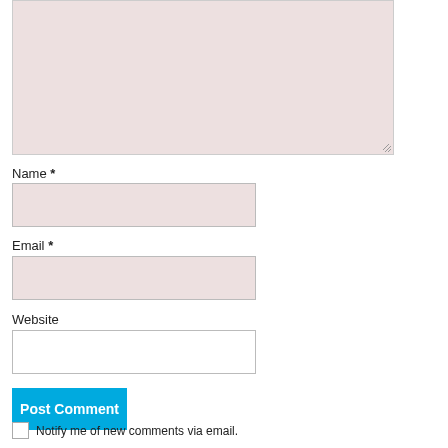[Figure (screenshot): Comment textarea input field with pinkish-beige background, with resize handle at bottom-right corner]
Name *
[Figure (screenshot): Name input field with pinkish-beige background]
Email *
[Figure (screenshot): Email input field with pinkish-beige background]
Website
[Figure (screenshot): Website input field with white background]
Post Comment
Notify me of new comments via email.